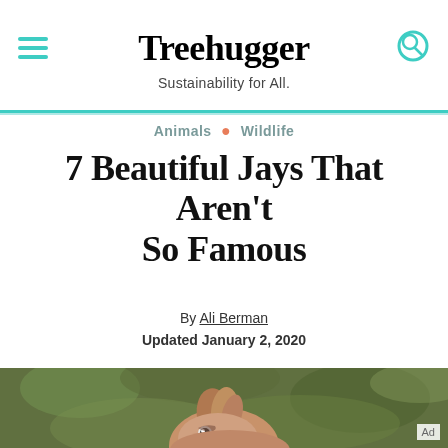Treehugger — Sustainability for All.
Animals • Wildlife
7 Beautiful Jays That Aren't So Famous
By Ali Berman
Updated January 2, 2020
[Figure (photo): Close-up photo of a jay bird with brownish-pink plumage and a crest, peeking up from below against a blurred green background. An 'Ad' label is visible in the bottom right corner.]